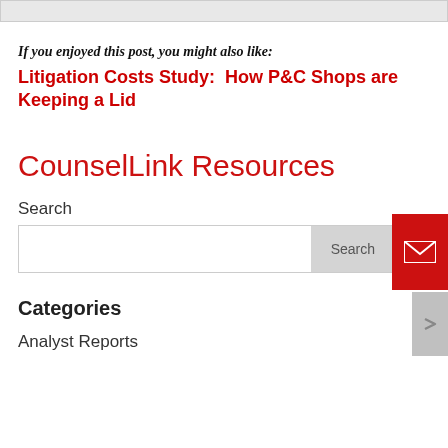If you enjoyed this post, you might also like:
Litigation Costs Study:  How P&C Shops are Keeping a Lid
CounselLink Resources
Search
Categories
Analyst Reports